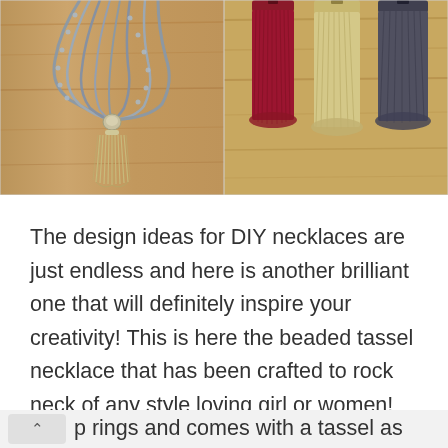[Figure (photo): Left photo: beaded tassel necklace with silver/grey beads and a cream tassel pendant, on a wooden background. Right photo: three decorative tassels (red/maroon, cream/gold, dark grey) displayed on a wooden background.]
The design ideas for DIY necklaces are just endless and here is another brilliant one that will definitely inspire your creativity! This is here the beaded tassel necklace that has been crafted to rock neck of any style loving girl or women! Here this necklace is made of different bead strands connected through p rings and comes with a tassel as